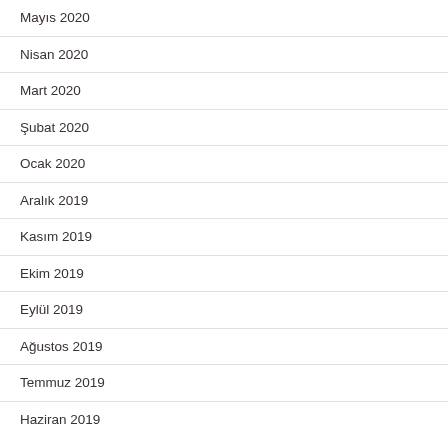Mayıs 2020
Nisan 2020
Mart 2020
Şubat 2020
Ocak 2020
Aralık 2019
Kasım 2019
Ekim 2019
Eylül 2019
Ağustos 2019
Temmuz 2019
Haziran 2019